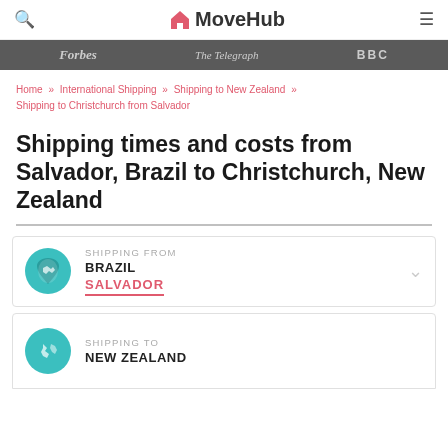MoveHub
Forbes | The Daily Telegraph | BBC
Home » International Shipping » Shipping to New Zealand » Shipping to Christchurch from Salvador
Shipping times and costs from Salvador, Brazil to Christchurch, New Zealand
SHIPPING FROM
BRAZIL
SALVADOR
SHIPPING TO
NEW ZEALAND